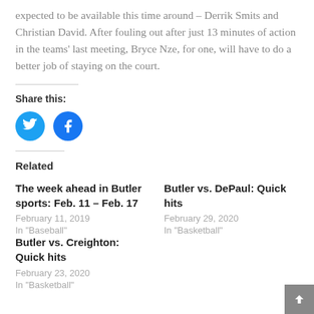expected to be available this time around – Derrik Smits and Christian David. After fouling out after just 13 minutes of action in the teams' last meeting, Bryce Nze, for one, will have to do a better job of staying on the court.
Share this:
[Figure (illustration): Twitter and Facebook circular social share buttons]
Related
The week ahead in Butler sports: Feb. 11 – Feb. 17
February 11, 2019
In "Baseball"
Butler vs. DePaul: Quick hits
February 29, 2020
In "Basketball"
Butler vs. Creighton: Quick hits
February 23, 2020
In "Basketball"